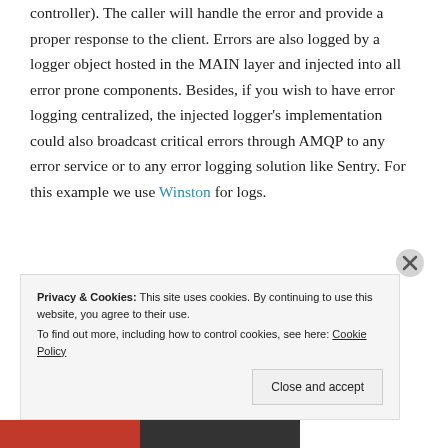controller). The caller will handle the error and provide a proper response to the client. Errors are also logged by a logger object hosted in the MAIN layer and injected into all error prone components. Besides, if you wish to have error logging centralized, the injected logger's implementation could also broadcast critical errors through AMQP to any error service or to any error logging solution like Sentry. For this example we use Winston for logs.
Privacy & Cookies: This site uses cookies. By continuing to use this website, you agree to their use. To find out more, including how to control cookies, see here: Cookie Policy
Close and accept